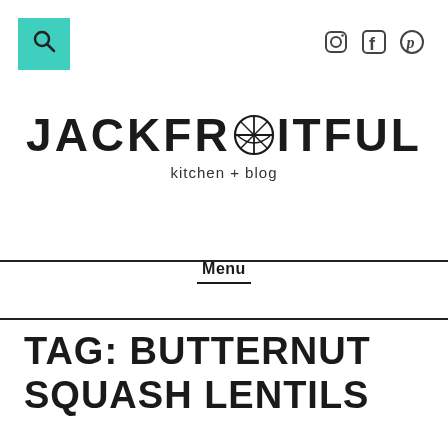Search and social icons header
[Figure (logo): JACKFRUITFUL kitchen + blog logo with a citrus slice replacing the 'UI' letters]
Menu
TAG: BUTTERNUT SQUASH LENTILS